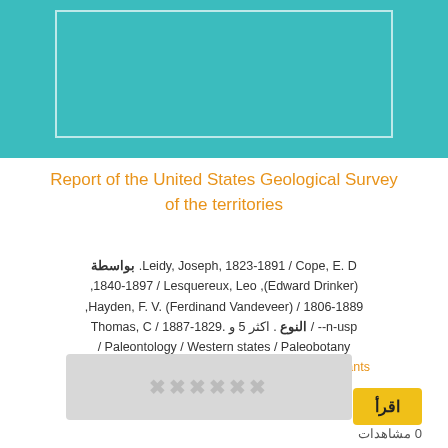[Figure (illustration): Teal/turquoise banner at top of page with a white-bordered inner rectangle]
Report of the United States Geological Survey of the territories
بواسطة Leidy, Joseph, 1823-1891 / Cope, E. D. (Edward Drinker), 1840-1897 / Lesquereux, Leo, 1806-1889 / Hayden, F. V. (Ferdinand Vandeveer), 1829-1887 / Thomas, C n-usp-- / النوع . اكثر 5 و . Paleontology / Western states / Paleobotany / Western states و 2 اكثر . الأسماء: plants / sp / leaves / apex / spigelia nov. و 8467 اكثر
اقرأ
[Figure (other): Greyed out watermark/logo area]
0 مشاهدات